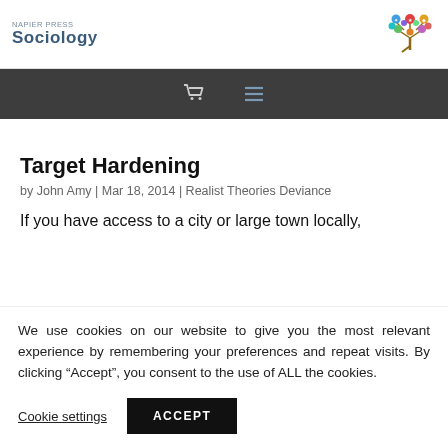NAPIER PRESS Sociology
[Figure (illustration): Colorful tree logo with circular icons in branches, representing Napier Press Sociology]
[Figure (infographic): Dark navigation bar with shopping cart icon and hamburger menu icon]
Target Hardening
by John Amy | Mar 18, 2014 | Realist Theories Deviance
If you have access to a city or large town locally,
We use cookies on our website to give you the most relevant experience by remembering your preferences and repeat visits. By clicking “Accept”, you consent to the use of ALL the cookies.
Cookie settings  ACCEPT